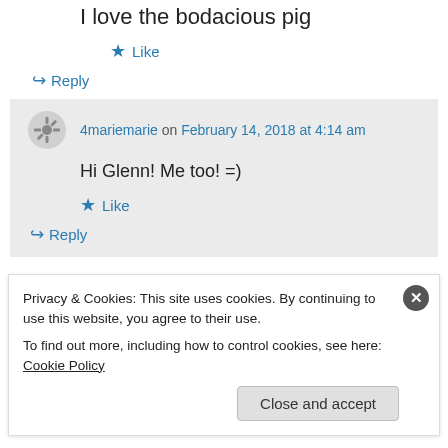I love the bodacious pig
★ Like
↪ Reply
4mariemarie on February 14, 2018 at 4:14 am
Hi Glenn! Me too! =)
★ Like
↪ Reply
Privacy & Cookies: This site uses cookies. By continuing to use this website, you agree to their use.
To find out more, including how to control cookies, see here: Cookie Policy
Close and accept